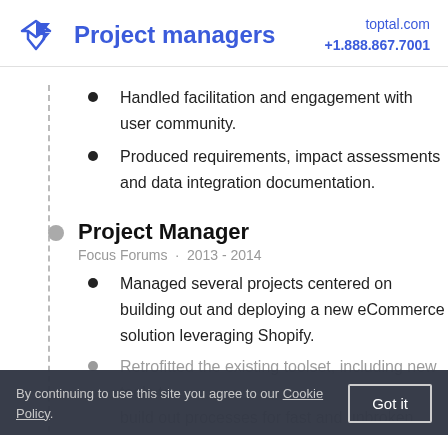Project managers | toptal.com +1.888.867.7001
Handled facilitation and engagement with user community.
Produced requirements, impact assessments and data integration documentation.
Project Manager
Focus Forums · 2013 - 2014
Managed several projects centered on building out and deploying a new eCommerce solution leveraging Shopify.
Retrofitted the existing toolset, including new tools to build out processes for fast and unbroken requirements, better communication with all and clarity around requirements.